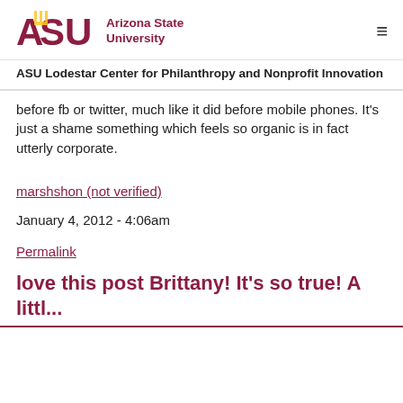ASU Arizona State University
ASU Lodestar Center for Philanthropy and Nonprofit Innovation
before fb or twitter, much like it did before mobile phones. It's just a shame something which feels so organic is in fact utterly corporate.
marshshon (not verified)
January 4, 2012 - 4:06am
Permalink
love this post Brittany! It's so true! A littl...